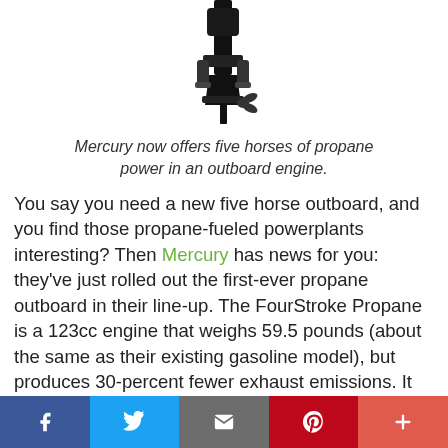[Figure (photo): Partial image of a Mercury outboard engine, showing the lower unit and shaft against a white background.]
Mercury now offers five horses of propane power in an outboard engine.
You say you need a new five horse outboard, and you find those propane-fueled powerplants interesting? Then Mercury has news for you: they've just rolled out the first-ever propane outboard in their line-up. The FourStroke Propane is a 123cc engine that weighs 59.5 pounds (about the same as their existing gasoline model), but produces 30-percent fewer exhaust emissions. It has auto shut-off on the engine and hose connector for additional safety, and a standard US POL connector attaches to a regular propane tank. A conventional five-gallon propane tank provides a whopping 10 hours of juice at wide-open
[Figure (infographic): Social media sharing bar with Facebook, Twitter, Email, Pinterest, and Plus buttons.]